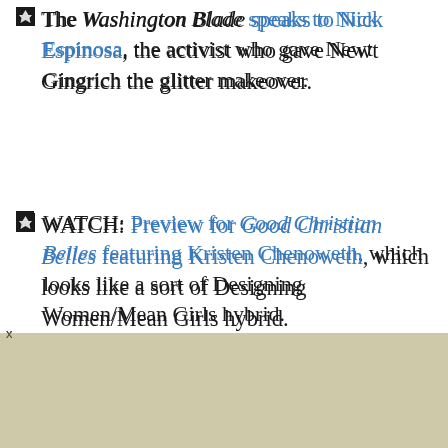The Washington Blade speaks to Nick Espinosa, the activist who gave Newt Gingrich the glitter makeover.
WATCH: Preview for Good Christian Belles featuring Kristen Chenoweth, which looks like a sort of Designing Women/Mean Girls hybrid.
Tim Kaine: Gay couples should be allowed to adopt. Virginia advocacy groups ask for more time: 'A coalition of groups, including gay-rights advocates, wants the Virginia Board of